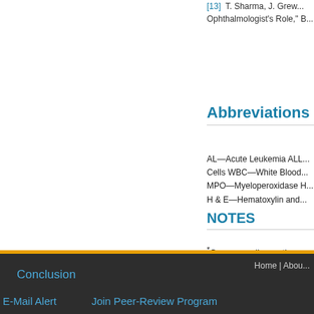[13]  T. Sharma, J. Grew... Ophthalmologist's Role," B...
Abbreviations
AL—Acute Leukemia ALL... Cells WBC—White Blood... MPO—Myeloperoxidase H... H & E—Hematoxylin and...
NOTES
*Corresponding author.
Top
ABSTRACT
Introduction
Case Report
Discussion
Conclusion
E-Mail Alert   Join Peer-Review Program
Home | Abou...